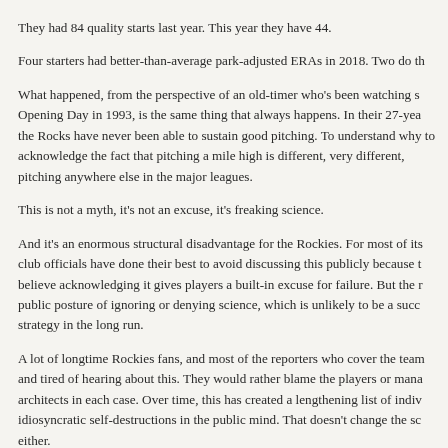They had 84 quality starts last year. This year they have 44.
Four starters had better-than-average park-adjusted ERAs in 2018. Two do th
What happened, from the perspective of an old-timer who's been watching s Opening Day in 1993, is the same thing that always happens. In their 27-yea the Rocks have never been able to sustain good pitching. To understand why to acknowledge the fact that pitching a mile high is different, very different, pitching anywhere else in the major leagues.
This is not a myth, it's not an excuse, it's freaking science.
And it's an enormous structural disadvantage for the Rockies. For most of its club officials have done their best to avoid discussing this publicly because t believe acknowledging it gives players a built-in excuse for failure. But the r public posture of ignoring or denying science, which is unlikely to be a succ strategy in the long run.
A lot of longtime Rockies fans, and most of the reporters who cover the team and tired of hearing about this. They would rather blame the players or mana architects in each case. Over time, this has created a lengthening list of indiv idiosyncratic self-destructions in the public mind. That doesn't change the sc either.
Robert Adair, the Sterling Professor Emeritus of physics at Yale University, r explained it all in The Physics of Baseball, which he updated to include som